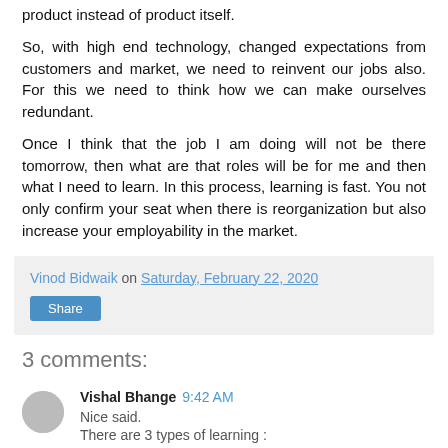product instead of product itself.
So, with high end technology, changed expectations from customers and market, we need to reinvent our jobs also. For this we need to think how we can make ourselves redundant.
Once I think that the job I am doing will not be there tomorrow, then what are that roles will be for me and then what I need to learn. In this process, learning is fast. You not only confirm your seat when there is reorganization but also increase your employability in the market.
Vinod Bidwaik on Saturday, February 22, 2020
Share
3 comments:
Vishal Bhange 9:42 AM
Nice said.
There are 3 types of learning :